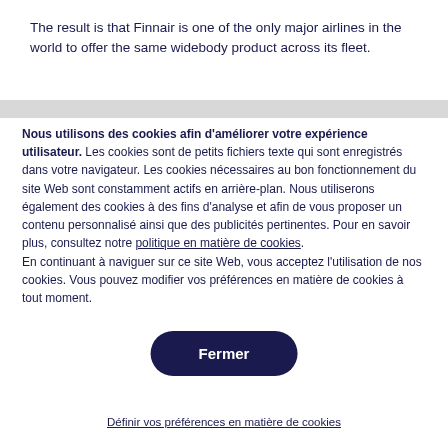The result is that Finnair is one of the only major airlines in the world to offer the same widebody product across its fleet.
Nous utilisons des cookies afin d'améliorer votre expérience utilisateur. Les cookies sont de petits fichiers texte qui sont enregistrés dans votre navigateur. Les cookies nécessaires au bon fonctionnement du site Web sont constamment actifs en arrière-plan. Nous utiliserons également des cookies à des fins d'analyse et afin de vous proposer un contenu personnalisé ainsi que des publicités pertinentes. Pour en savoir plus, consultez notre politique en matière de cookies. En continuant à naviguer sur ce site Web, vous acceptez l'utilisation de nos cookies. Vous pouvez modifier vos préférences en matière de cookies à tout moment.
Fermer
Définir vos préférences en matière de cookies